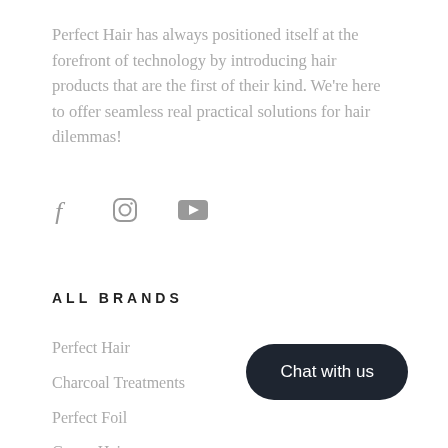Perfect Hair has always positioned itself at the forefront of technology by introducing hair products that are the first of their kind. We're here to offer seamless real practical solutions for hair dilemmas!
[Figure (infographic): Three social media icons: Facebook (f), Instagram (circle/camera), YouTube (play button rectangle)]
ALL BRANDS
Perfect Hair
Charcoal Treatments
Perfect Foil
Guava Hair
Clip In Hair Extensions
Tape Hair Extensions
Chat with us